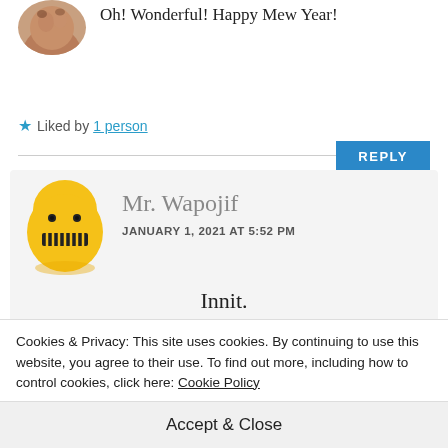[Figure (photo): Partial circular avatar photo showing a person's face from forehead to cheek]
Oh! Wonderful! Happy Mew Year!
★ Liked by 1 person
REPLY
[Figure (illustration): Yellow round emoji-style avatar with two dot eyes and a zipper mouth, representing Mr. Wapojif]
Mr. Wapojif
JANUARY 1, 2021 AT 5:52 PM
Innit.
Cookies & Privacy: This site uses cookies. By continuing to use this website, you agree to their use. To find out more, including how to control cookies, click here: Cookie Policy
Accept & Close